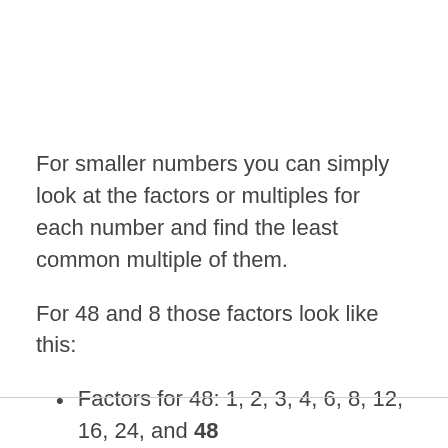For smaller numbers you can simply look at the factors or multiples for each number and find the least common multiple of them.
For 48 and 8 those factors look like this:
Factors for 48: 1, 2, 3, 4, 6, 8, 12, 16, 24, and 48